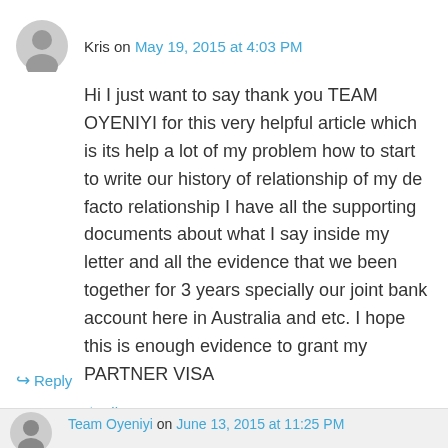Kris on May 19, 2015 at 4:03 PM
Hi I just want to say thank you TEAM OYENIYI for this very helpful article which is its help a lot of my problem how to start to write our history of relationship of my de facto relationship I have all the supporting documents about what I say inside my letter and all the evidence that we been together for 3 years specially our joint bank account here in Australia and etc. I hope this is enough evidence to grant my PARTNER VISA
Like
Reply
Team Oyeniyi on June 13, 2015 at 11:25 PM